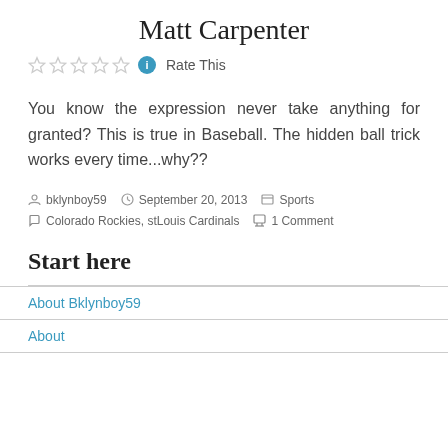Matt Carpenter
Rate This
You know the expression never take anything for granted? This is true in Baseball. The hidden ball trick works every time...why??
bklynboy59  September 20, 2013  Sports  Colorado Rockies, stLouis Cardinals  1 Comment
Start here
About Bklynboy59
About